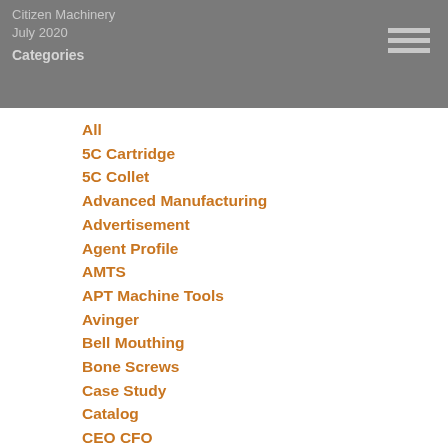Categories
All
5C Cartridge
5C Collet
Advanced Manufacturing
Advertisement
Agent Profile
AMTS
APT Machine Tools
Avinger
Bell Mouthing
Bone Screws
Case Study
Catalog
CEO CFO
Chip Wrapping
Cincom
Cincom L12
Cincom L20
Cincom M16
Cincom M32
CNC West
Collet
Concentricity
Dental Implants
Dragan Marjanovic